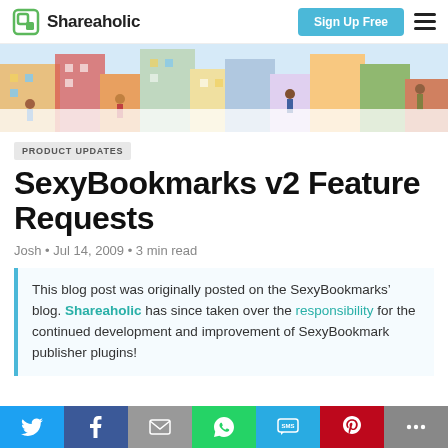Shareaholic | Sign Up Free
[Figure (illustration): Colorful illustrated banner showing people in various scenes around city buildings]
PRODUCT UPDATES
SexyBookmarks v2 Feature Requests
Josh • Jul 14, 2009 • 3 min read
This blog post was originally posted on the SexyBookmarks' blog. Shareaholic has since taken over the responsibility for the continued development and improvement of SexyBookmark publisher plugins!